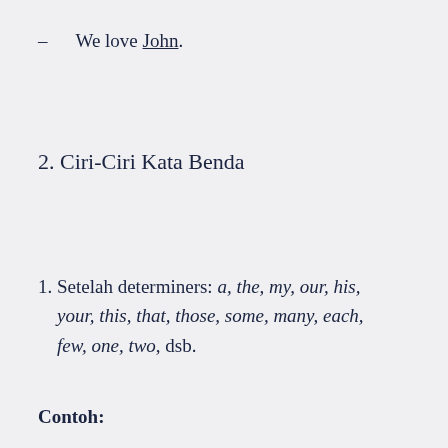– We love John.
2. Ciri-Ciri Kata Benda
1. Setelah determiners: a, the, my, our, his, your, this, that, those, some, many, each, few, one, two, dsb.
Contoh: